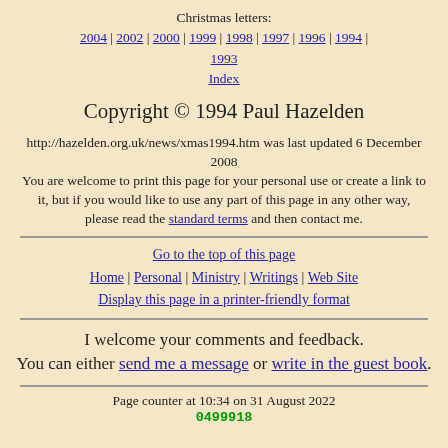Christmas letters: 2004 | 2002 | 2000 | 1999 | 1998 | 1997 | 1996 | 1994 | 1993
Index
Copyright © 1994 Paul Hazelden
http://hazelden.org.uk/news/xmas1994.htm was last updated 6 December 2008
You are welcome to print this page for your personal use or create a link to it, but if you would like to use any part of this page in any other way, please read the standard terms and then contact me.
Go to the top of this page
Home | Personal | Ministry | Writings | Web Site
Display this page in a printer-friendly format
I welcome your comments and feedback. You can either send me a message or write in the guest book.
Page counter at 10:34 on 31 August 2022
0499918